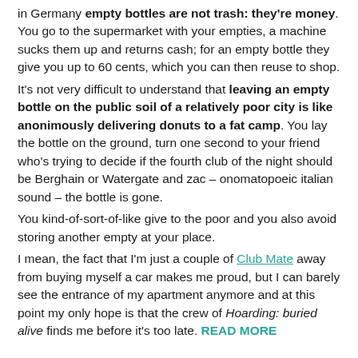in Germany empty bottles are not trash: they're money. You go to the supermarket with your empties, a machine sucks them up and returns cash; for an empty bottle they give you up to 60 cents, which you can then reuse to shop. It's not very difficult to understand that leaving an empty bottle on the public soil of a relatively poor city is like anonimously delivering donuts to a fat camp. You lay the bottle on the ground, turn one second to your friend who's trying to decide if the fourth club of the night should be Berghain or Watergate and zac – onomatopoeic italian sound – the bottle is gone. You kind-of-sort-of-like give to the poor and you also avoid storing another empty at your place. I mean, the fact that I'm just a couple of Club Mate away from buying myself a car makes me proud, but I can barely see the entrance of my apartment anymore and at this point my only hope is that the crew of Hoarding: buried alive finds me before it's too late. READ MORE